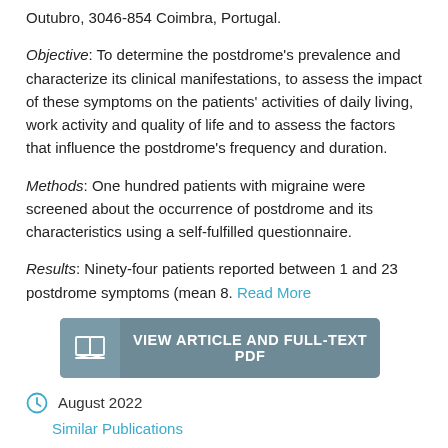Outubro, 3046-854 Coimbra, Portugal.
Objective: To determine the postdrome's prevalence and characterize its clinical manifestations, to assess the impact of these symptoms on the patients' activities of daily living, work activity and quality of life and to assess the factors that influence the postdrome's frequency and duration.
Methods: One hundred patients with migraine were screened about the occurrence of postdrome and its characteristics using a self-fulfilled questionnaire.
Results: Ninety-four patients reported between 1 and 23 postdrome symptoms (mean 8. Read More
[Figure (other): Button labeled VIEW ARTICLE AND FULL-TEXT PDF with a book icon on the left]
August 2022
Similar Publications